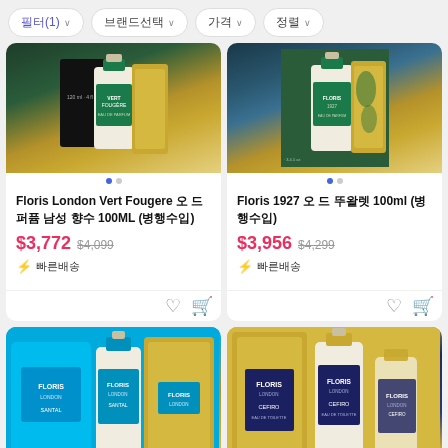필터(1) ∨   브랜드선택 ∨   가격 ∨   정렬 ∨
[Figure (photo): Floris London Vert Fougere perfume bottle with green and gold packaging]
Floris London Vert Fougere 오 드 퍼퓸 남성 향수 100ML (병행수입)
$3,772  $4,099
⚡ 빠른배송
[Figure (photo): Floris 1927 perfume bottle with teal/green and gold packaging]
Floris 1927 오 드 뚜왈렛 100ml (병행수입)
$3,956  $4,299
⚡ 빠른배송
[Figure (photo): Floris perfume bottles with cyan/teal packaging]
[Figure (photo): Floris Cefiro perfume bottles with navy blue and gold packaging]
6 / 6 페